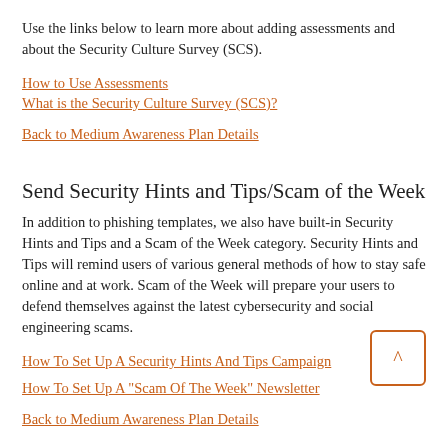Use the links below to learn more about adding assessments and about the Security Culture Survey (SCS).
How to Use Assessments
What is the Security Culture Survey (SCS)?
Back to Medium Awareness Plan Details
Send Security Hints and Tips/Scam of the Week
In addition to phishing templates, we also have built-in Security Hints and Tips and a Scam of the Week category. Security Hints and Tips will remind users of various general methods of how to stay safe online and at work. Scam of the Week will prepare your users to defend themselves against the latest cybersecurity and social engineering scams.
How To Set Up A Security Hints And Tips Campaign
How To Set Up A "Scam Of The Week" Newsletter
Back to Medium Awareness Plan Details